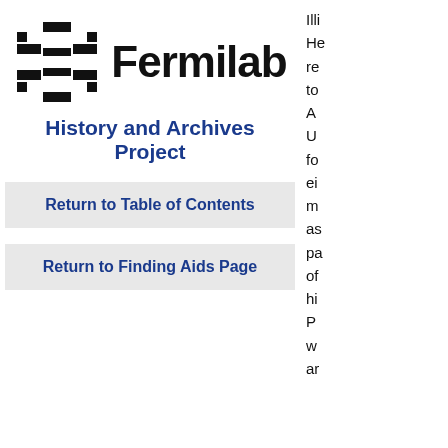[Figure (logo): Fermilab logo: stylized geometric cross/snowflake shape in black, with the text 'Fermilab' in bold black to its right]
History and Archives Project
Return to Table of Contents
Return to Finding Aids Page
Illi He re to A U fo ei m as pa of hi P w ar